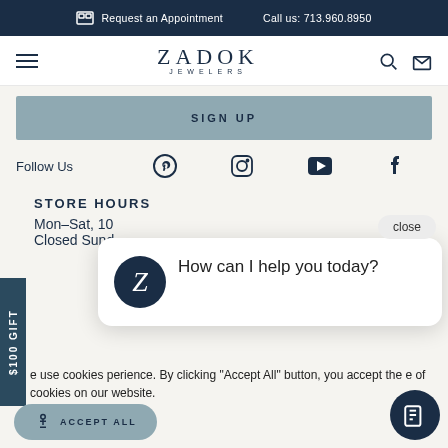Request an Appointment   Call us: 713.960.8950
ZADOK JEWELERS
SIGN UP
Follow Us
STORE HOURS
Mon–Sat, 10
Closed Sund
How can I help you today?
close
$100 GIFT
e use cookies perience. By clicking "Accept All" button, you accept the e of cookies on our website.
ACCEPT ALL